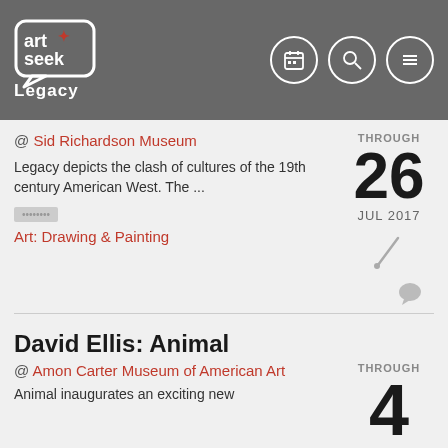art+seek — Legacy
Legacy
@ Sid Richardson Museum
Legacy depicts the clash of cultures of the 19th century American West. The ...
THROUGH 26 JUL 2017
Art: Drawing & Painting
David Ellis: Animal
@ Amon Carter Museum of American Art
Animal inaugurates an exciting new
THROUGH 4 JUN 2017